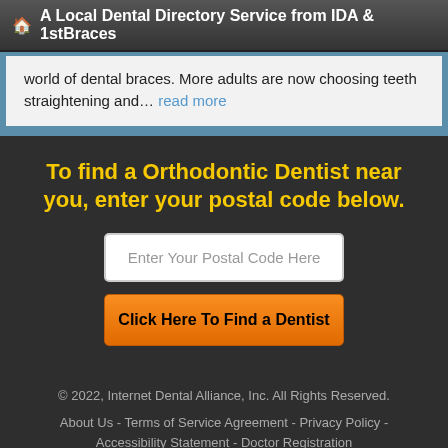A Local Dental Directory Service from IDA & 1stBraces
world of dental braces. More adults are now choosing teeth straightening and… read more
To find a Orthodontic Dentist near you, enter your postal code below.
Enter Your Postal Code Here
Click Here To Find a Dentist
© 2022, Internet Dental Alliance, Inc. All Rights Reserved.
About Us - Terms of Service Agreement - Privacy Policy - Accessibility Statement - Doctor Registration